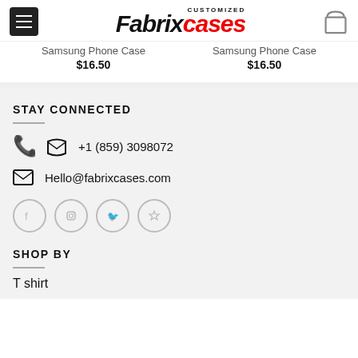Fabrix cases CUSTOMIZED
Samsung Phone Case $16.50
Samsung Phone Case $16.50
STAY CONNECTED
+1 (859) 3098072
Hello@fabrixcases.com
[Figure (other): Social media icons: Facebook, Instagram, Twitter, Pinterest]
SHOP BY
T shirt